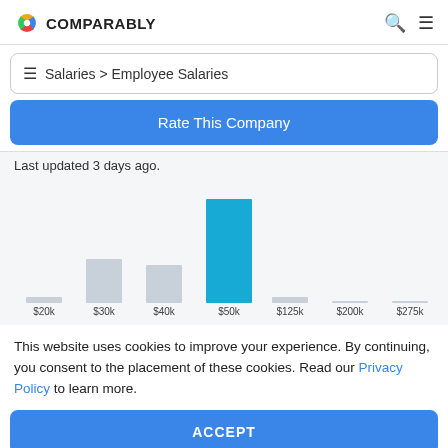COMPARABLY
Salaries > Employee Salaries
Rate This Company
Last updated 3 days ago.
[Figure (bar-chart): Salary Distribution]
This website uses cookies to improve your experience. By continuing, you consent to the placement of these cookies. Read our Privacy Policy to learn more.
ACCEPT